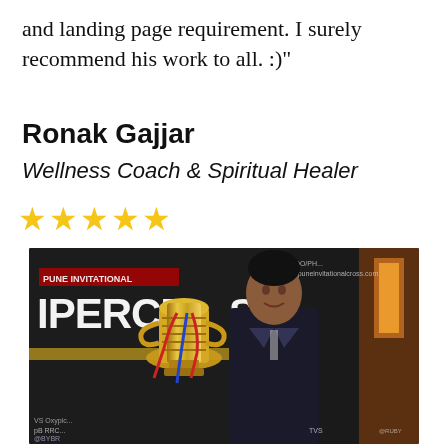and landing page requirement. I surely recommend his work to all. :)"
Ronak Gajjar
Wellness Coach & Spiritual Healer
★★★★★
[Figure (photo): Man in dark suit posing with a large gold trophy at Pune Invitational Supercross event. Event banners visible in background including TVS, OXYrich, GBYBR, RUBY logos.]